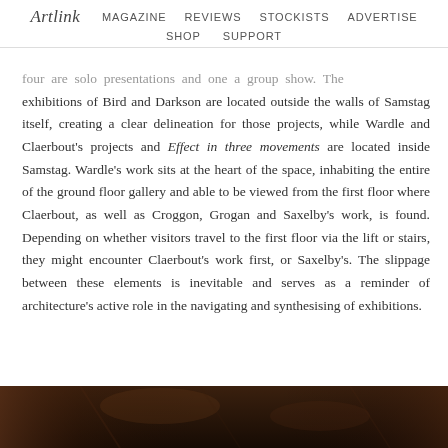Artlink  MAGAZINE  REVIEWS  STOCKISTS  ADVERTISE  SHOP  SUPPORT
…four are solo presentations and one a group show. The exhibitions of Bird and Darkson are located outside the walls of Samstag itself, creating a clear delineation for those projects, while Wardle and Claerbout's projects and Effect in three movements are located inside Samstag. Wardle's work sits at the heart of the space, inhabiting the entire of the ground floor gallery and able to be viewed from the first floor where Claerbout, as well as Croggon, Grogan and Saxelby's work, is found. Depending on whether visitors travel to the first floor via the lift or stairs, they might encounter Claerbout's work first, or Saxelby's. The slippage between these elements is inevitable and serves as a reminder of architecture's active role in the navigating and synthesising of exhibitions.
[Figure (photo): Dark photograph strip at bottom of page, showing a dimly lit interior scene with warm brown/amber tones.]